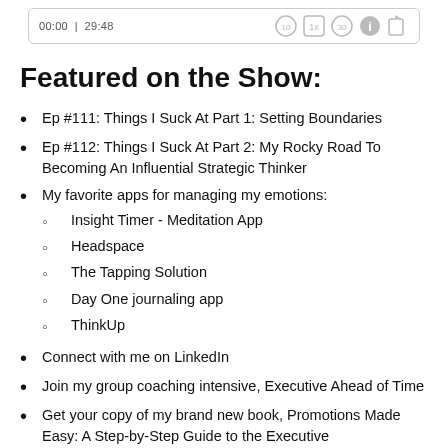[Figure (screenshot): Audio player bar showing time 00:00 | 29:48 with playback controls including rewind 10, speed 1x, forward 30, info, and share buttons]
Featured on the Show:
Ep #111: Things I Suck At Part 1: Setting Boundaries
Ep #112: Things I Suck At Part 2: My Rocky Road To Becoming An Influential Strategic Thinker
My favorite apps for managing my emotions:
Insight Timer - Meditation App
Headspace
The Tapping Solution
Day One journaling app
ThinkUp
Connect with me on LinkedIn
Join my group coaching intensive, Executive Ahead of Time
Get your copy of my brand new book, Promotions Made Easy: A Step-by-Step Guide to the Executive